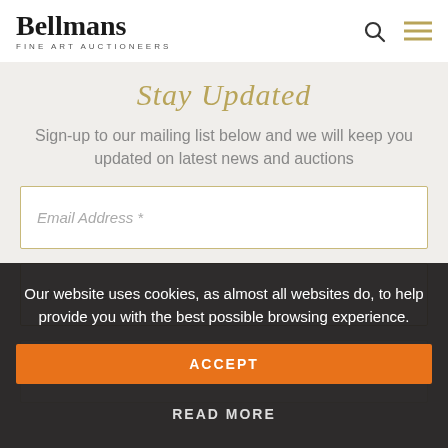Bellmans Fine Art Auctioneers
Stay Updated
Sign-up to our mailing list below and we will keep you updated on latest news and auctions
Email Address *
First name
Our website uses cookies, as almost all websites do, to help provide you with the best possible browsing experience.
ACCEPT
READ MORE